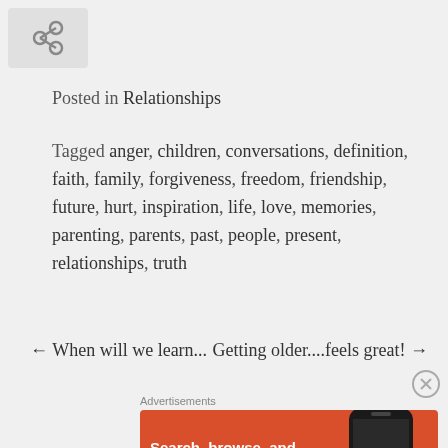[Figure (logo): Chain link / share icon in grey box]
Posted in Relationships
Tagged anger, children, conversations, definition, faith, family, forgiveness, freedom, friendship, future, hurt, inspiration, life, love, memories, parenting, parents, past, people, present, relationships, truth
← When will we learn...   Getting older....feels great! →
[Figure (other): Close button X circle]
Advertisements
[Figure (screenshot): DuckDuckGo advertisement banner: Search, browse, and email with more privacy. All in One Free App. Shows phone with DuckDuckGo logo.]